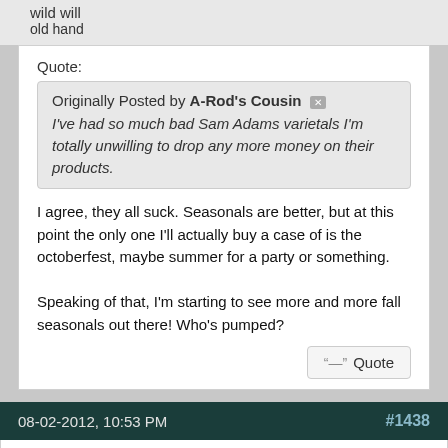wild will
old hand
Quote:
Originally Posted by A-Rod's Cousin
I've had so much bad Sam Adams varietals I'm totally unwilling to drop any more money on their products.
I agree, they all suck. Seasonals are better, but at this point the only one I'll actually buy a case of is the octoberfest, maybe summer for a party or something.

Speaking of that, I'm starting to see more and more fall seasonals out there! Who's pumped?
08-02-2012, 10:53 PM  #1438
MCizz
adept
Quote: